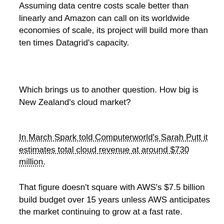Assuming data centre costs scale better than linearly and Amazon can call on its worldwide economies of scale, its project will build more than ten times Datagrid's capacity.
Which brings us to another question. How big is New Zealand's cloud market?
In March Spark told Computerworld's Sarah Putt it estimates total cloud revenue at around $730 million.
That figure doesn't square with AWS's $7.5 billion build budget over 15 years unless AWS anticipates the market continuing to grow at a fast rate.
Assuming AWS doesn't capture the entire market and intends its New Zealand operation to be profitable, either the local market would need to grow at about 40 percent a year for the next decade or the company expects to host a huge amount of international business here.